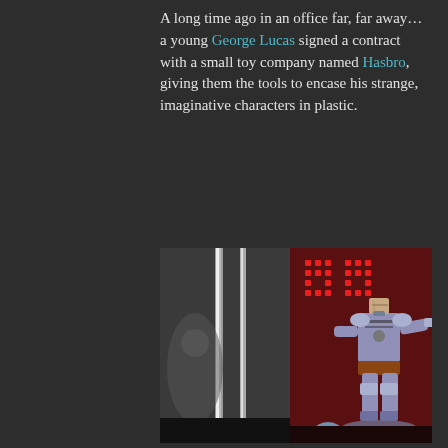A long time ago in an office far, far away… a young George Lucas signed a contract with a small toy company named Hasbro, giving them the tools to encase his strange, imaginative characters in plastic.
[Figure (photo): A Star Wars action figure in grey/lavender Mandalorian armor with one arm extended, displayed in a case with a red-lit background and LED dot matrix pattern visible. A Jango Fett helmet accessory is visible at the bottom.]